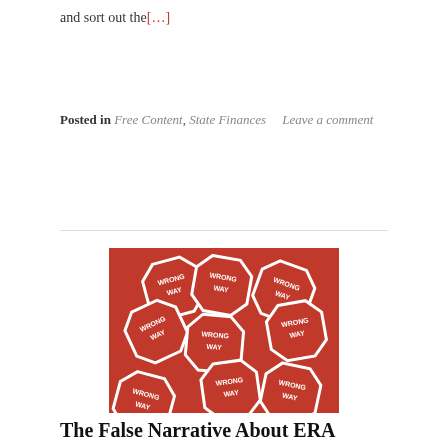and sort out the[…]
Posted in Free Content, State Finances    Leave a comment
[Figure (photo): A pile of red octagonal 'WRONG WAY' signs scattered on top of each other, similar to traffic wrong-way signs with white text and white borders.]
The False Narrative About ERA